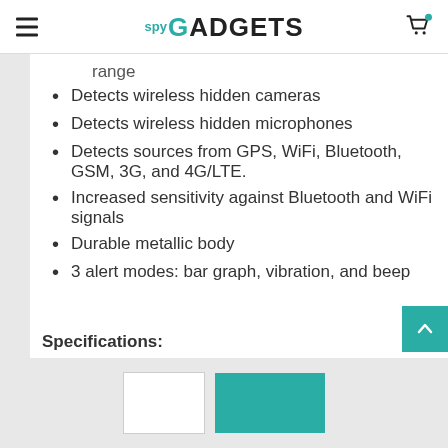spy GADGETS
range
Detects wireless hidden cameras
Detects wireless hidden microphones
Detects sources from GPS, WiFi, Bluetooth, GSM, 3G, and 4G/LTE.
Increased sensitivity against Bluetooth and WiFi signals
Durable metallic body
3 alert modes: bar graph, vibration, and beep
Specifications: